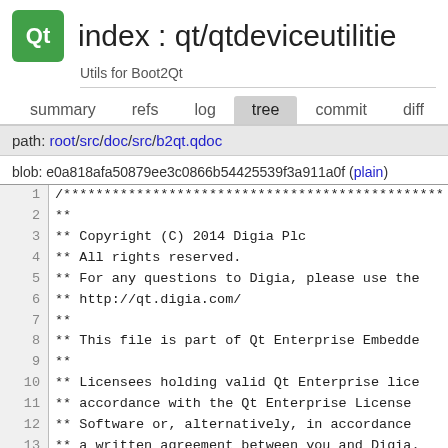index : qt/qtdeviceutilities
Utils for Boot2Qt
summary  refs  log  tree  commit  diff  stats  lo
path: root/src/doc/src/b2qt.qdoc
blob: e0a818afa50879ee3c0866b54425539f3a911a0f (plain)
1  /***********************************************
2  **
3  ** Copyright (C) 2014 Digia Plc
4  ** All rights reserved.
5  ** For any questions to Digia, please use the
6  ** http://qt.digia.com/
7  **
8  ** This file is part of Qt Enterprise Embedde
9  **
10 ** Licensees holding valid Qt Enterprise lice
11 ** accordance with the Qt Enterprise License
12 ** Software or, alternatively, in accordance
13 ** a written agreement between you and Digia.
14 **
15 ** If you have questions regarding the use of